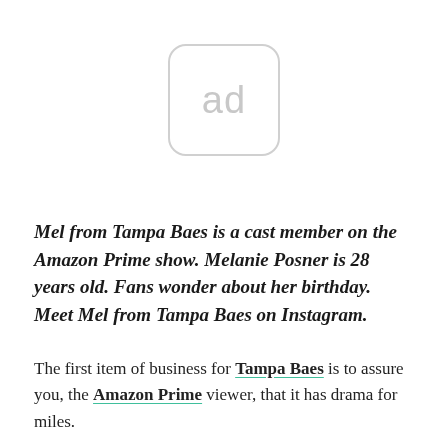[Figure (other): Ad placeholder box with rounded corners containing the text 'ad' in light gray]
Mel from Tampa Baes is a cast member on the Amazon Prime show. Melanie Posner is 28 years old. Fans wonder about her birthday. Meet Mel from Tampa Baes on Instagram.
The first item of business for Tampa Baes is to assure you, the Amazon Prime viewer, that it has drama for miles.